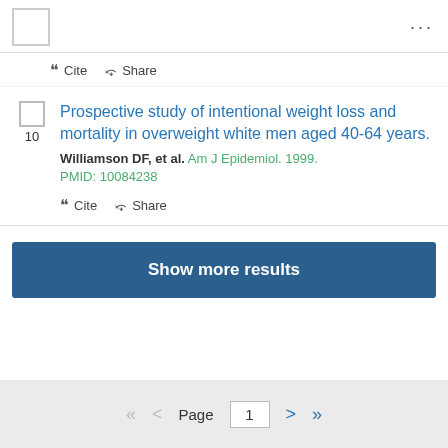Cite  Share
Prospective study of intentional weight loss and mortality in overweight white men aged 40-64 years.
Williamson DF, et al. Am J Epidemiol. 1999.
PMID: 10084238
Cite  Share
Show more results
Page 1